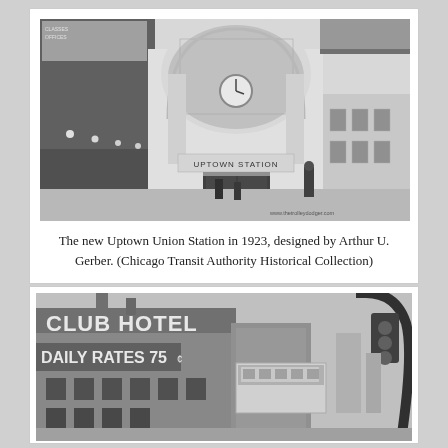[Figure (photo): Black and white historical photograph of the Uptown Union Station in 1923, showing ornate Beaux-Arts facade with arched entrance, decorative stonework, clock, and 'UPTOWN STATION' signage. A uniformed officer stands in front. Watermark reads www.thetrolleydodger.com]
The new Uptown Union Station in 1923, designed by Arthur U. Gerber. (Chicago Transit Authority Historical Collection)
[Figure (photo): Black and white historical photograph showing a street scene with a Club Hotel sign reading 'DAILY RATES 75¢', an elevated rail car visible in the background, and a curved street lamp in the foreground.]